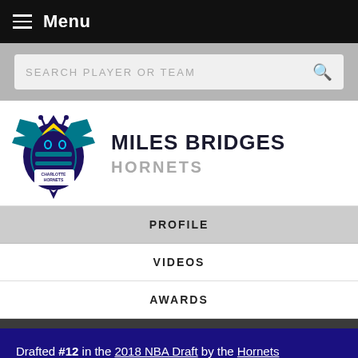Menu
SEARCH PLAYER OR TEAM
MILES BRIDGES
HORNETS
PROFILE
VIDEOS
AWARDS
Drafted #12 in the 2018 NBA Draft by the Hornets
RCSI: 12 (2016)
HEIGHT: 6'7" (201 cm)